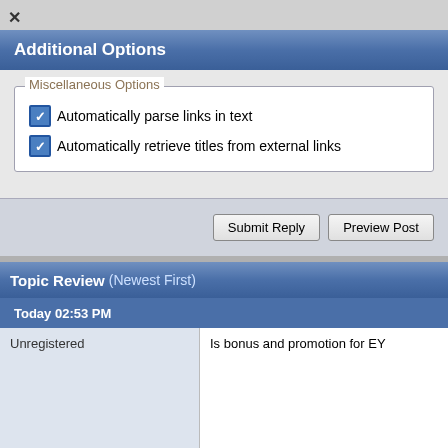Additional Options
Miscellaneous Options
Automatically parse links in text
Automatically retrieve titles from external links
Submit Reply | Preview Post
Topic Review (Newest First)
Today 02:53 PM
Unregistered
Is bonus and promotion for EY
[Figure (photo): Advertisement: Learn the signs, educate others, and prevent elder abuse. NCEA logo with photo of elderly people.]